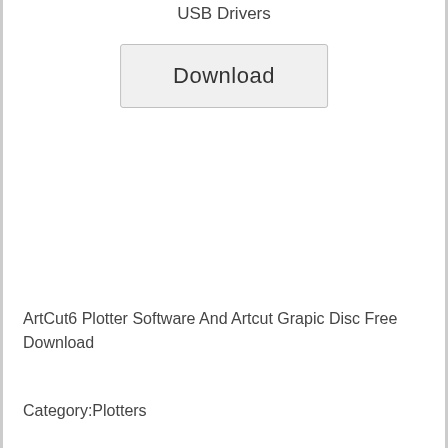USB Drivers
[Figure (other): Download button — a rectangular button with border and the label 'Download']
ArtCut6 Plotter Software And Artcut Grapic Disc Free Download
Category:Plotters